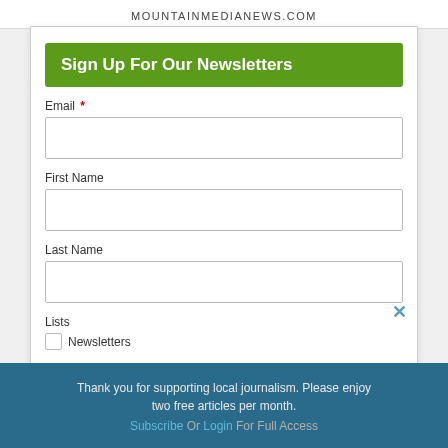MOUNTAINMEDIANEWS.COM
Sign Up For Our Newsletters
Email *
First Name
Last Name
Lists
Newsletters
Thank you for supporting local journalism. Please enjoy two free articles per month. Subscribe Or Login For Full Access